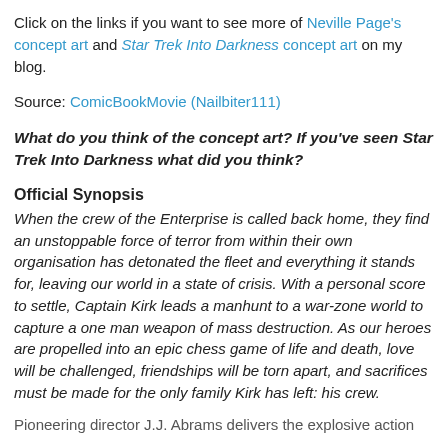Click on the links if you want to see more of Neville Page's concept art and Star Trek Into Darkness concept art on my blog.
Source: ComicBookMovie (Nailbiter111)
What do you think of the concept art? If you've seen Star Trek Into Darkness what did you think?
Official Synopsis
When the crew of the Enterprise is called back home, they find an unstoppable force of terror from within their own organisation has detonated the fleet and everything it stands for, leaving our world in a state of crisis. With a personal score to settle, Captain Kirk leads a manhunt to a war-zone world to capture a one man weapon of mass destruction. As our heroes are propelled into an epic chess game of life and death, love will be challenged, friendships will be torn apart, and sacrifices must be made for the only family Kirk has left: his crew.
Pioneering director J.J. Abrams delivers the explosive action